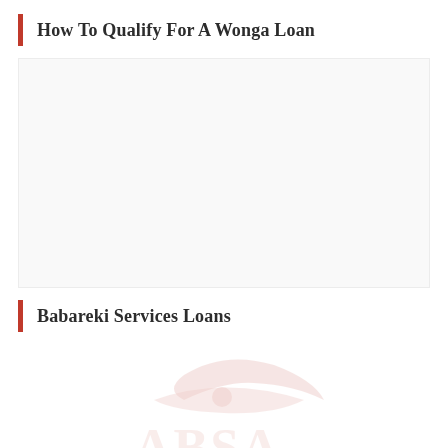How To Qualify For A Wonga Loan
[Figure (other): Blank/white content area below first heading]
Babareki Services Loans
[Figure (logo): Babareki Services logo — stylized text/emblem in light red/pink, partially visible at bottom of page]